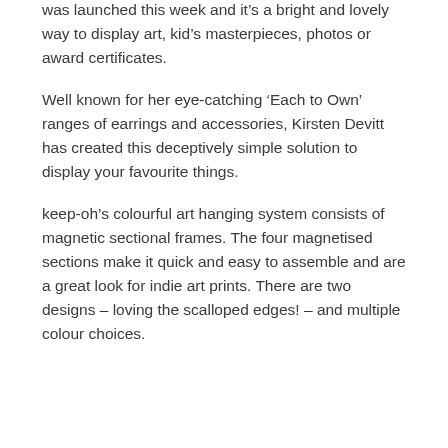was launched this week and it's a bright and lovely way to display art, kid's masterpieces, photos or award certificates.
Well known for her eye-catching 'Each to Own' ranges of earrings and accessories, Kirsten Devitt has created this deceptively simple solution to display your favourite things.
keep-oh's colourful art hanging system consists of magnetic sectional frames. The four magnetised sections make it quick and easy to assemble and are a great look for indie art prints. There are two designs – loving the scalloped edges! – and multiple colour choices.